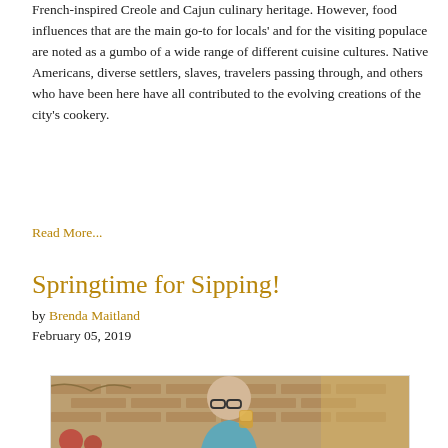French-inspired Creole and Cajun culinary heritage. However, food influences that are the main go-to for locals' and for the visiting populace are noted as a gumbo of a wide range of different cuisine cultures. Native Americans, diverse settlers, slaves, travelers passing through, and others who have been here have all contributed to the evolving creations of the city's cookery.
Read More...
Springtime for Sipping!
by Brenda Maitland
February 05, 2019
[Figure (photo): A bald man wearing glasses and a teal jacket drinking from a glass of orange liquid, standing outdoors in front of a brick wall.]